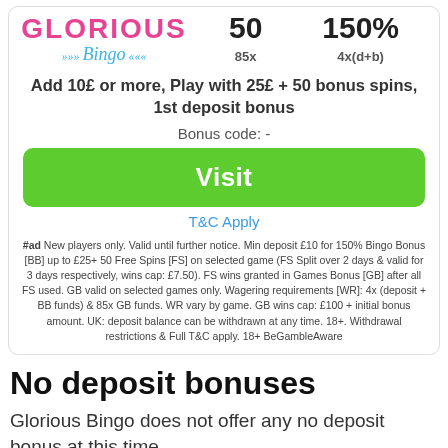[Figure (logo): Glorious Bingo logo with pink text 'GLORIOUS' and teal italic 'Bingo' with decorative elements]
50
150%
85x
4x(d+b)
Add 10£ or more, Play with 25£ + 50 bonus spins, 1st deposit bonus
Bonus code: -
Visit
T&C Apply
#ad New players only. Valid until further notice. Min deposit £10 for 150% Bingo Bonus [BB] up to £25+ 50 Free Spins [FS] on selected game (FS Split over 2 days & valid for 3 days respectively, wins cap: £7.50). FS wins granted in Games Bonus [GB] after all FS used. GB valid on selected games only. Wagering requirements [WR]: 4x (deposit + BB funds) & 85x GB funds. WR vary by game. GB wins cap: £100 + initial bonus amount. UK: deposit balance can be withdrawn at any time. 18+. Withdrawal restrictions & Full T&C apply. 18+ BeGambleAware
No deposit bonuses
Glorious Bingo does not offer any no deposit bonus at this time.